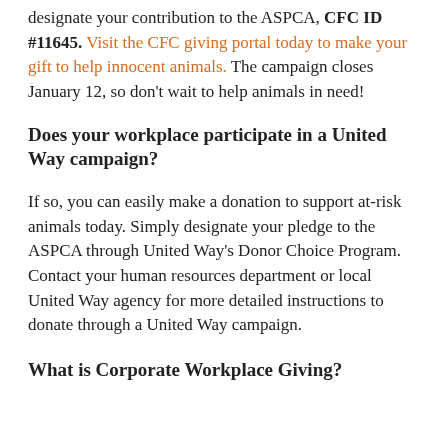designate your contribution to the ASPCA, CFC ID #11645. Visit the CFC giving portal today to make your gift to help innocent animals. The campaign closes January 12, so don't wait to help animals in need!
Does your workplace participate in a United Way campaign?
If so, you can easily make a donation to support at-risk animals today. Simply designate your pledge to the ASPCA through United Way's Donor Choice Program. Contact your human resources department or local United Way agency for more detailed instructions to donate through a United Way campaign.
What is Corporate Workplace Giving?